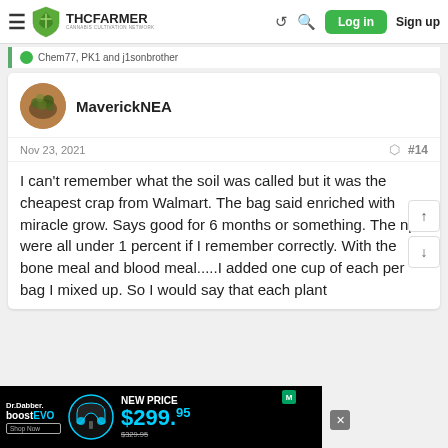THC FARMER - CANNABIS CULTIVATION NETWORK | Log in | Sign up
Chem77, PK1 and j1sonbrother
MaverickNEA
Nov 23, 2021  #14
I can't remember what the soil was called but it was the cheapest crap from Walmart. The bag said enriched with miracle grow. Says good for 6 months or something. The npk were all under 1 percent if I remember correctly. With the bone meal and blood meal.....I added one cup of each per bag I mixed up. So I would say that each plant
[Figure (screenshot): Dr.Dabber boost EVO advertisement banner showing NEW PRICE $299.95 (was $329.95) with headphones image]